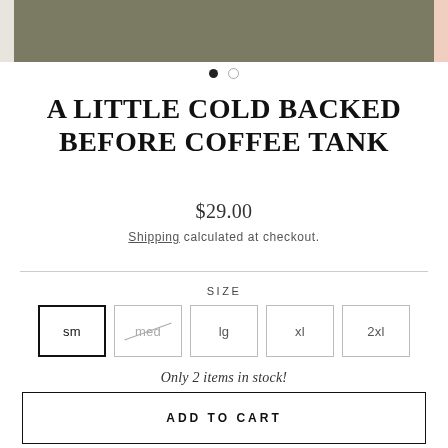[Figure (photo): Product image strip showing clothing item in olive/green color at center, with partial images on left and right edges]
A LITTLE COLD BACKED BEFORE COFFEE TANK
$29.00
Shipping calculated at checkout.
SIZE
sm  med  lg  xl  2xl
Only 2 items in stock!
ADD TO CART